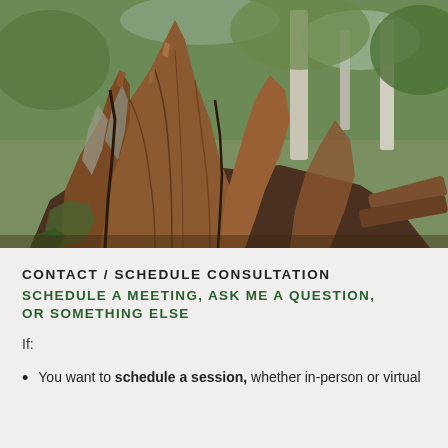[Figure (photo): A large decaying tree stump with jagged, fibrous bark and wood fragments in shades of reddish-brown and grey, set in a woodland environment with green foliage and other trees visible in the background.]
CONTACT / SCHEDULE CONSULTATION
SCHEDULE A MEETING, ASK ME A QUESTION, OR SOMETHING ELSE
If:
You want to schedule a session, whether in-person or virtual